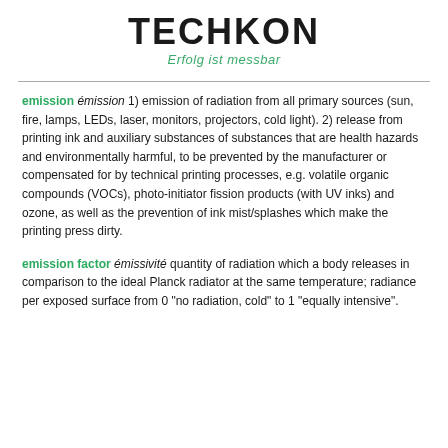TECHKON
Erfolg ist messbar
emission émission 1) emission of radiation from all primary sources (sun, fire, lamps, LEDs, laser, monitors, projectors, cold light). 2) release from printing ink and auxiliary substances of substances that are health hazards and environmentally harmful, to be prevented by the manufacturer or compensated for by technical printing processes, e.g. volatile organic compounds (VOCs), photo-initiator fission products (with UV inks) and ozone, as well as the prevention of ink mist/splashes which make the printing press dirty.
emission factor émissivité quantity of radiation which a body releases in comparison to the ideal Planck radiator at the same temperature; radiance per exposed surface from 0 "no radiation, cold" to 1 "equally intensive".